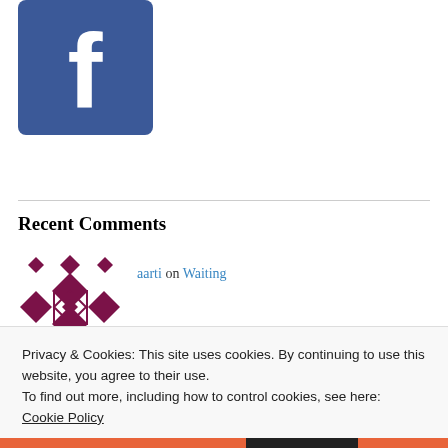[Figure (logo): Facebook logo — blue square background with white cross/f shape]
Promote Your Page Too
[Figure (illustration): Dark red/maroon geometric quilt-pattern avatar for user aarti]
Recent Comments
aarti on Waiting
Privacy & Cookies: This site uses cookies. By continuing to use this website, you agree to their use.
To find out more, including how to control cookies, see here: Cookie Policy
Close and accept